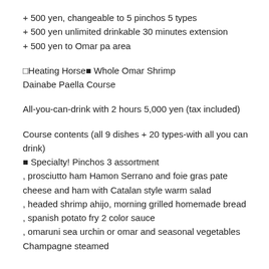+ 500 yen, changeable to 5 pinchos 5 types
+ 500 yen unlimited drinkable 30 minutes extension
+ 500 yen to Omar pa area
□Heating Horse■ Whole Omar Shrimp Dainabe Paella Course
All-you-can-drink with 2 hours 5,000 yen (tax included)
Course contents (all 9 dishes + 20 types-with all you can drink)
■ Specialty! Pinchos 3 assortment
, prosciutto ham Hamon Serrano and foie gras pate cheese and ham with Catalan style warm salad
, headed shrimp ahijo, morning grilled homemade bread
, spanish potato fry 2 color sauce
, omaruni sea urchin or omar and seasonal vegetables Champagne steamed